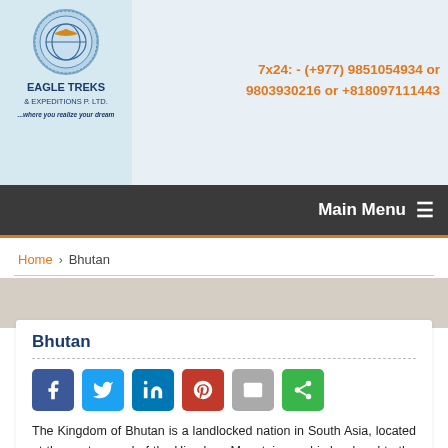Eagle Treks & Expeditions P. Ltd. | 7x24: - (+977) 9851054934 or 9803930216 or +818097111443
Main Menu
Home > Bhutan
Bhutan
The Kingdom of Bhutan is a landlocked nation in South Asia, located at the eastern end of the Himalaya Mountains and is bordered to the south, east and west by the Republic of India and to the north by the People's Republic of China. Bhutan is separated from the nearby state of Nepal to the